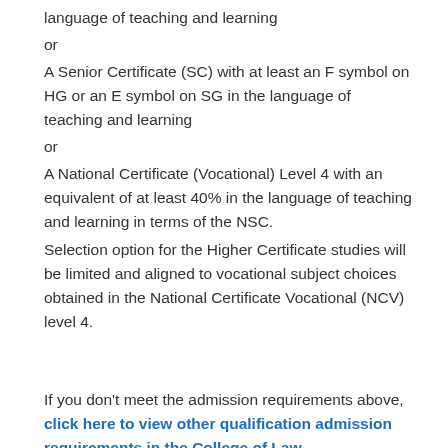language of teaching and learning
or
A Senior Certificate (SC) with at least an F symbol on HG or an E symbol on SG in the language of teaching and learning
or
A National Certificate (Vocational) Level 4 with an equivalent of at least 40% in the language of teaching and learning in terms of the NSC.
Selection option for the Higher Certificate studies will be limited and aligned to vocational subject choices obtained in the National Certificate Vocational (NCV) level 4.
If you don't meet the admission requirements above, click here to view other qualification admission requirements in the College of Law.
Student fees and funding your